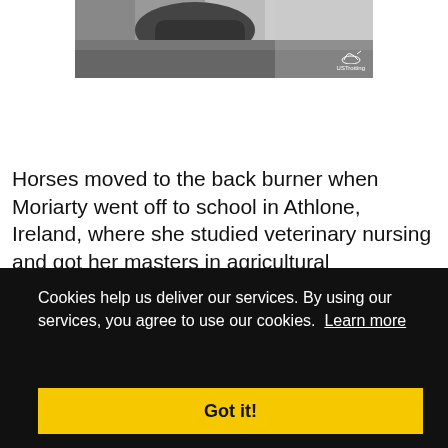[Figure (photo): Black and white close-up photo of a horse with a rider, showing saddle and horse's back. USTrotting logo visible in bottom right corner of photo.]
Horses moved to the back burner when Moriarty went off to school in Athlone, Ireland, where she studied veterinary nursing and got her masters in agricultural
nary
n vets
tool to
aybe
d a
Moriarty
Cookies help us deliver our services. By using our services, you agree to use our cookies. Learn more
Got it!